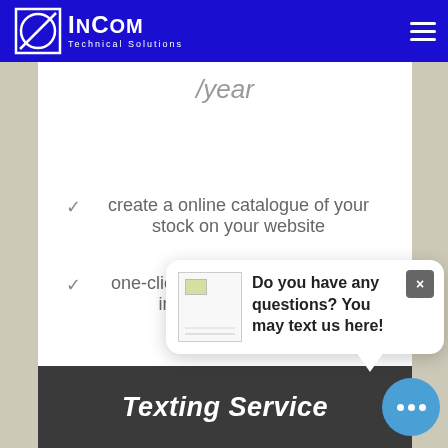[Figure (logo): InCom Technical Solutions logo with blue background, white diamond/circle shield icon and white text]
/year
create a online catalogue of your stock on your website
one-click operation to keep your inventory up-to-date
[Figure (screenshot): Chat popup widget: image placeholder on left, bold text 'Do you have any questions? You may text us here!' on right, close button (x) top-right, speech bubble tail pointing down-right]
Texting Service